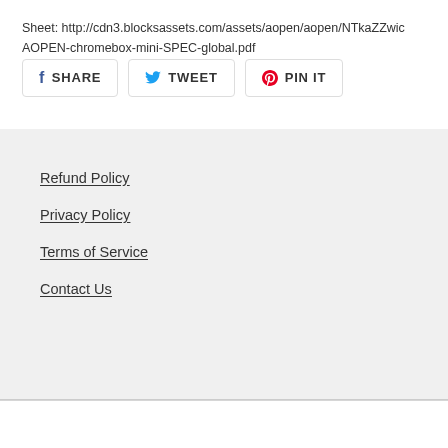Sheet: http://cdn3.blocksassets.com/assets/aopen/aopen/NTkaZZwic AOPEN-chromebox-mini-SPEC-global.pdf
[Figure (other): Social sharing buttons: SHARE (Facebook), TWEET (Twitter), PIN IT (Pinterest)]
Refund Policy
Privacy Policy
Terms of Service
Contact Us